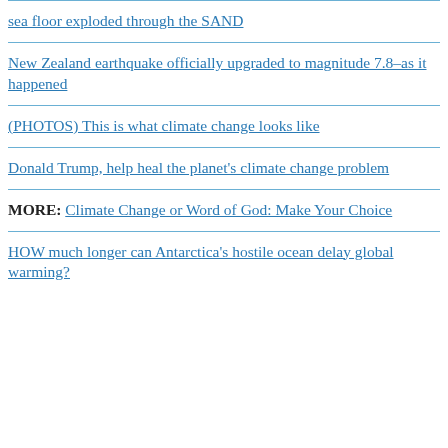sea floor exploded through the SAND
New Zealand earthquake officially upgraded to magnitude 7.8–as it happened
(PHOTOS) This is what climate change looks like
Donald Trump, help heal the planet's climate change problem
MORE: Climate Change or Word of God: Make Your Choice
HOW much longer can Antarctica's hostile ocean delay global warming?